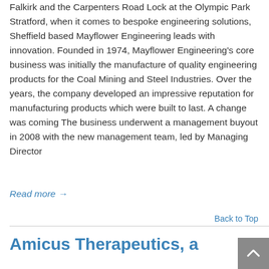Falkirk and the Carpenters Road Lock at the Olympic Park Stratford, when it comes to bespoke engineering solutions, Sheffield based Mayflower Engineering leads with innovation. Founded in 1974, Mayflower Engineering's core business was initially the manufacture of quality engineering products for the Coal Mining and Steel Industries. Over the years, the company developed an impressive reputation for manufacturing products which were built to last. A change was coming The business underwent a management buyout in 2008 with the new management team, led by Managing Director
Read more →
Back to Top
Amicus Therapeutics, a